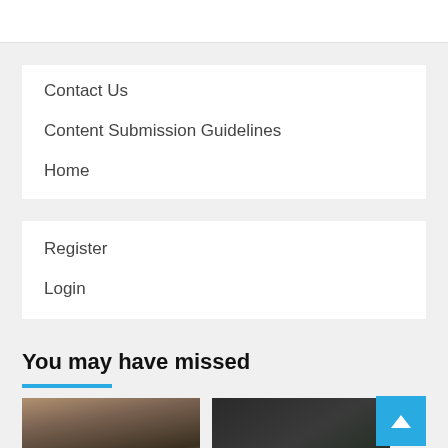Contact Us
Content Submission Guidelines
Home
Register
Login
You may have missed
[Figure (photo): Photo of a man wearing a baseball cap, dark background]
[Figure (photo): Dark abstract or sports photo with dark tones]